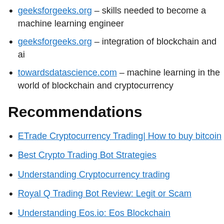geeksforgeeks.org – skills needed to become a machine learning engineer
geeksforgeeks.org – integration of blockchain and ai
towardsdatascience.com – machine learning in the world of blockchain and cryptocurrency
Recommendations
ETrade Cryptocurrency Trading| How to buy bitcoin
Best Crypto Trading Bot Strategies
Understanding Cryptocurrency trading
Royal Q Trading Bot Review: Legit or Scam
Understanding Eos.io: Eos Blockchain